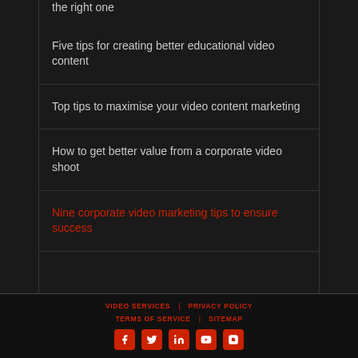the right one
Five tips for creating better educational video content
Top tips to maximise your video content marketing
How to get better value from a corporate video shoot
Nine corporate video marketing tips to ensure success
VIDEO SERVICES  PRIVACY POLICY  TERMS OF SERVICE  SITEMAP